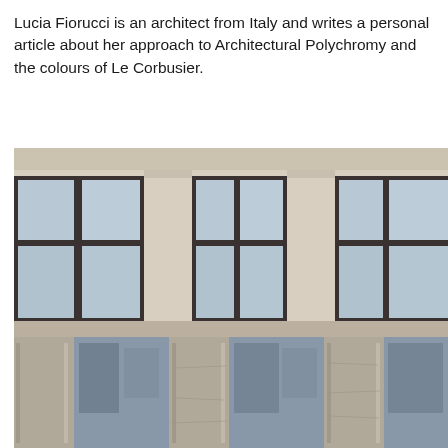Lucia Fiorucci is an architect from Italy and writes a personal article about her approach to Architectural Polychromy and the colours of Le Corbusier.
[Figure (photo): Photograph of a modern building facade showing two floors. The upper floor has large windows with dark brown/charcoal frames set into a light beige/cream rendered facade. The lower floor features tall vertical stone or concrete columns with reflective glass panels between them, reflecting a city skyline.]